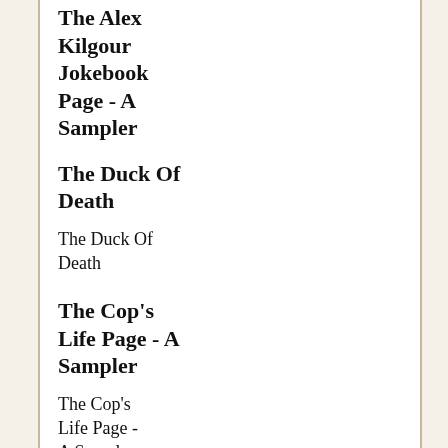The Alex Kilgour Jokebook Page - A Sampler
The Duck Of Death
The Duck Of Death
The Cop's Life Page - A Sampler
The Cop's Life Page - A Sampler